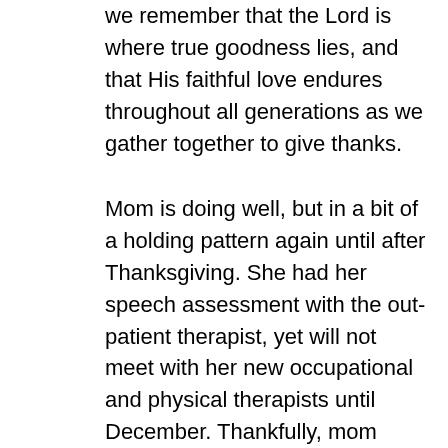we remember that the Lord is where true goodness lies, and that His faithful love endures throughout all generations as we gather together to give thanks.
Mom is doing well, but in a bit of a holding pattern again until after Thanksgiving. She had her speech assessment with the out-patient therapist, yet will not meet with her new occupational and physical therapists until December. Thankfully, mom remains upbeat and optimistic, recognizing the positive work that lies ahead. More than anything, I think that all of us are eager and grateful to be together for Thanksgiving. It has been our family tradition for many years, so I anticipate